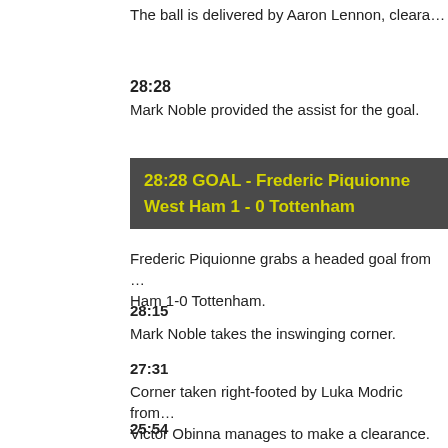The ball is delivered by Aaron Lennon, cleara…
28:28
Mark Noble provided the assist for the goal.
28:28 GOAL - Frederic Piquionne West Ham 1 - 0 Tottenham
Frederic Piquionne grabs a headed goal from … Ham 1-0 Tottenham.
28:15
Mark Noble takes the inswinging corner.
27:31
Corner taken right-footed by Luka Modric from… Victor Obinna manages to make a clearance.
25:54
Outswinging corner taken from the right by-line…
Correction - 24:45
Unfair challenge on Luis Boa Morte by Alan H… free kick taken by Luis Boa Morte.